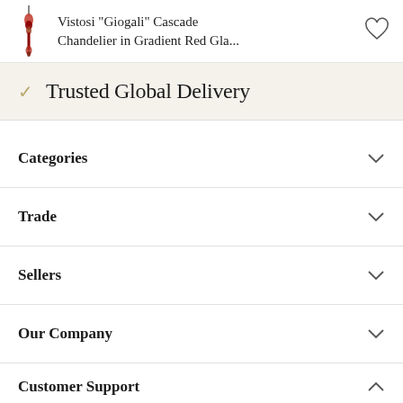Vistosi "Giogali" Cascade Chandelier in Gradient Red Gla...
✓ Trusted Global Delivery
Categories
Trade
Sellers
Our Company
Customer Support
Contact 1stDibs